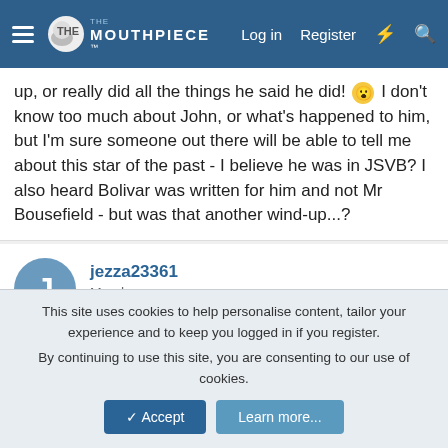The Mouthpiece - Log in | Register
up, or really did all the things he said he did! 😮 I don't know too much about John, or what's happened to him, but I'm sure someone out there will be able to tell me about this star of the past - I believe he was in JSVB? I also heard Bolivar was written for him and not Mr Bousefield - but was that another wind-up...?
jezza23361
Member
Jan 6, 2010   #93
Hi
Not sure that Bolivar was written for either as it was written
This site uses cookies to help personalise content, tailor your experience and to keep you logged in if you register.
By continuing to use this site, you are consenting to our use of cookies.